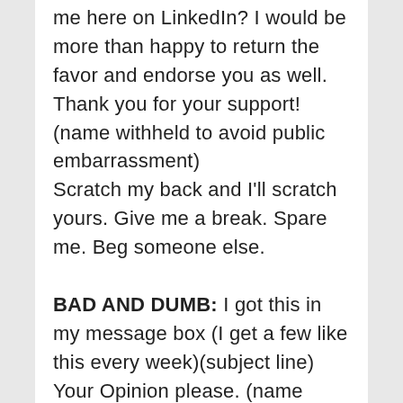me here on LinkedIn? I would be more than happy to return the favor and endorse you as well. Thank you for your support! (name withheld to avoid public embarrassment) Scratch my back and I'll scratch yours. Give me a break. Spare me. Beg someone else.
BAD AND DUMB: I got this in my message box (I get a few like this every week)(subject line) Your Opinion please. (name withheld) Supplier Business Executive